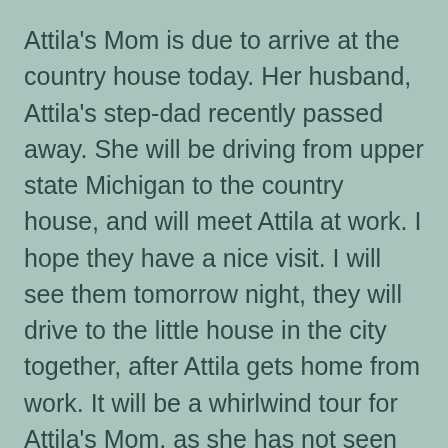Attila's Mom is due to arrive at the country house today. Her husband, Attila's step-dad recently passed away. She will be driving from upper state Michigan to the country house, and will meet Attila at work. I hope they have a nice visit. I will see them tomorrow night, they will drive to the little house in the city together, after Attila gets home from work. It will be a whirlwind tour for Attila's Mom, as she has not seen either of our houses. It will be great to see her.
Having a high speed internet connection at the